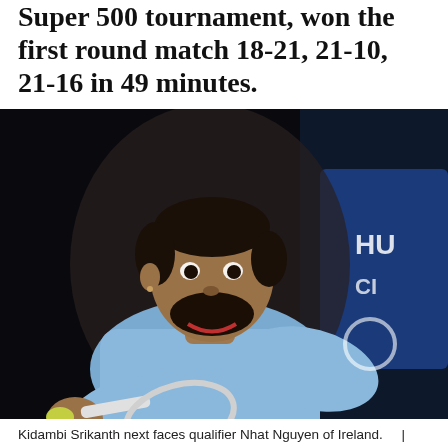Super 500 tournament, won the first round match 18-21, 21-10, 21-16 in 49 minutes.
[Figure (photo): Kidambi Srikanth, Indian badminton player, in action holding a racket and shuttlecock, wearing a light blue shirt, dark background with blue banner partially visible on the right.]
Kidambi Srikanth next faces qualifier Nhat Nguyen of Ireland.    | File Photo
ADVERTISEMENT